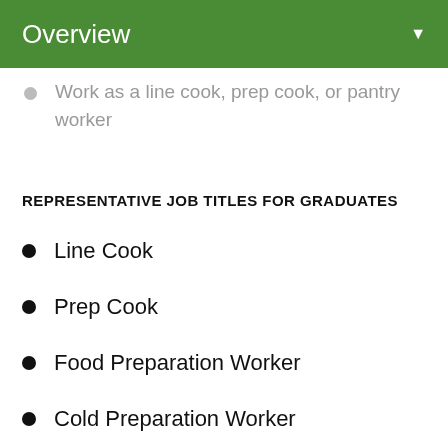Overview
Work as a line cook, prep cook, or pantry worker
REPRESENTATIVE JOB TITLES FOR GRADUATES
Line Cook
Prep Cook
Food Preparation Worker
Cold Preparation Worker
GRADUATE EMPLOYMENT OUTLOOK
Although the Culinary Arts Certificate is primarily intended for serious hobbyists